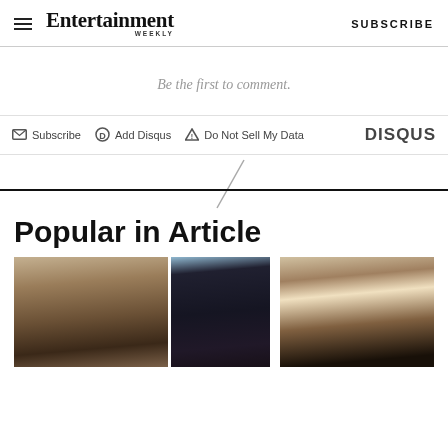Entertainment Weekly — SUBSCRIBE
Be the first to comment.
Subscribe  Add Disqus  Do Not Sell My Data  DISQUS
Popular in Article
[Figure (photo): Two people with styled hair — one with wavy brown hair, one with dark curly hair — side by side photo thumbnails]
[Figure (photo): Group of people outdoors, vintage-style photo]